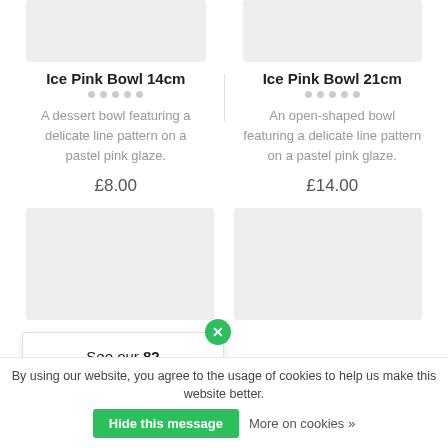[Figure (photo): Product image placeholder for Ice Pink Bowl 14cm (gray rectangle)]
Ice Pink Bowl 14cm
A dessert bowl featuring a delicate line pattern on a pastel pink glaze.
£8.00
[Figure (photo): Product image placeholder for Ice Pink Bowl 21cm (gray rectangle)]
Ice Pink Bowl 21cm
An open-shaped bowl featuring a delicate line pattern on a pastel pink glaze.
£14.00
[Figure (photo): Lower left product image placeholder (gray rectangle)]
[Figure (photo): Lower right product image placeholder (gray rectangle)]
See our 82 reviews on
By using our website, you agree to the usage of cookies to help us make this website better.
Hide this message
More on cookies »